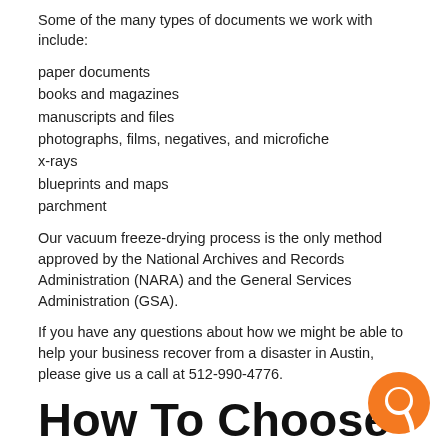Some of the many types of documents we work with include:
paper documents
books and magazines
manuscripts and files
photographs, films, negatives, and microfiche
x-rays
blueprints and maps
parchment
Our vacuum freeze-drying process is the only method approved by the National Archives and Records Administration (NARA) and the General Services Administration (GSA).
If you have any questions about how we might be able to help your business recover from a disaster in Austin, please give us a call at 512-990-4776.
How To Choose the Right Smoke Detectors for Your Home